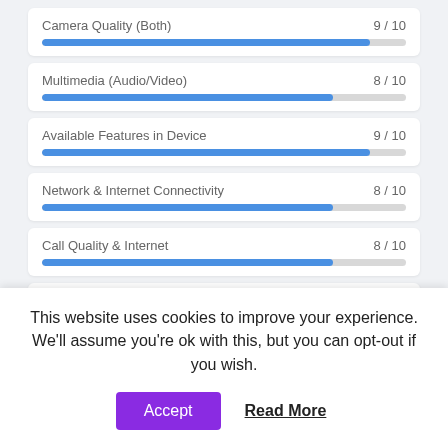[Figure (bar-chart): Ratings]
This website uses cookies to improve your experience. We'll assume you're ok with this, but you can opt-out if you wish.
Accept  Read More